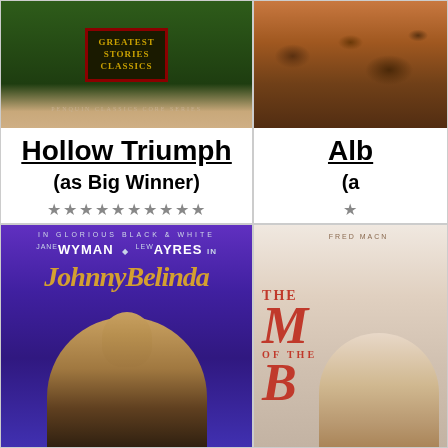[Figure (photo): Book cover with dark green background and gold text in a decorative bordered box, with a tan/beige strip at the bottom]
Hollow Triumph
(as Big Winner)
★★★★★★★★★★
[Figure (photo): Landscape photo showing an arid rocky terrain with brown and reddish earth tones]
Alb
(a
★
[Figure (photo): Movie poster for Johnny Belinda (in glorious black & white), featuring Jane Wyman and Lew Ayres, with purple/violet background and golden title text]
[Figure (photo): Movie poster partially visible: Fred MacMurray in The M of the B, with light/white background and red lettering]